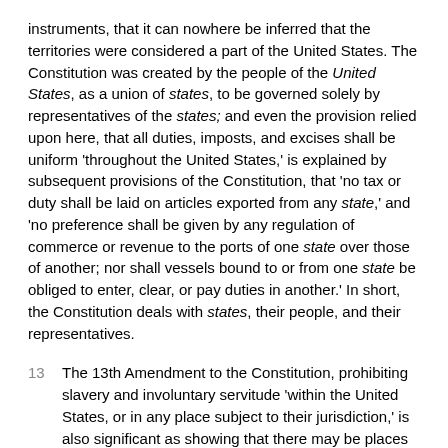instruments, that it can nowhere be inferred that the territories were considered a part of the United States. The Constitution was created by the people of the United States, as a union of states, to be governed solely by representatives of the states; and even the provision relied upon here, that all duties, imposts, and excises shall be uniform 'throughout the United States,' is explained by subsequent provisions of the Constitution, that 'no tax or duty shall be laid on articles exported from any state,' and 'no preference shall be given by any regulation of commerce or revenue to the ports of one state over those of another; nor shall vessels bound to or from one state be obliged to enter, clear, or pay duties in another.' In short, the Constitution deals with states, their people, and their representatives.
13 The 13th Amendment to the Constitution, prohibiting slavery and involuntary servitude 'within the United States, or in any place subject to their jurisdiction,' is also significant as showing that there may be places within the jurisdiction of the United States that are no part of the Union. To say that the phraseology of this amendment was due to the fact that it was intended to prohibit slavery in the seceded states, under a possible interpretation that those states were no longer a part of the Union, is to confess the very point in